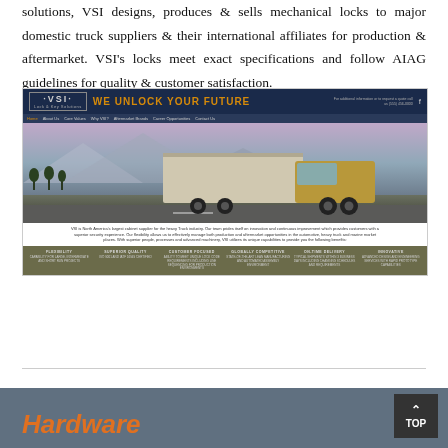solutions, VSI designs, produces & sells mechanical locks to major domestic truck suppliers & their international affiliates for production & aftermarket. VSI's locks meet exact specifications and follow AIAG guidelines for quality & customer satisfaction.
[Figure (screenshot): Screenshot of VSI Lock & Key Solutions website showing the company logo, tagline 'WE UNLOCK YOUR FUTURE', navigation bar, a large truck image, descriptive caption text, and a benefits bar with columns: Flexibility, Superior Quality, Customer Focused, Globally Competitive, On-Time Delivery, Innovative.]
Hardware